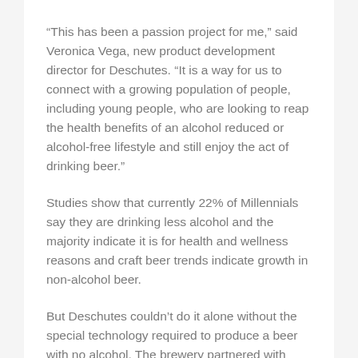“This has been a passion project for me,” said Veronica Vega, new product development director for Deschutes. “It is a way for us to connect with a growing population of people, including young people, who are looking to reap the health benefits of an alcohol reduced or alcohol-free lifestyle and still enjoy the act of drinking beer.”
Studies show that currently 22% of Millennials say they are drinking less alcohol and the majority indicate it is for health and wellness reasons and craft beer trends indicate growth in non-alcohol beer.
But Deschutes couldn’t do it alone without the special technology required to produce a beer with no alcohol. The brewery partnered with